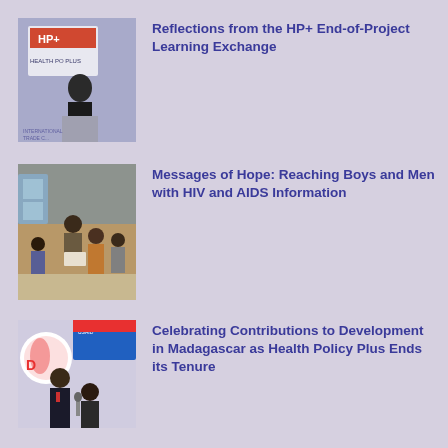[Figure (photo): Person speaking at a podium with HP+ Health Policy Plus banner in background]
Reflections from the HP+ End-of-Project Learning Exchange
[Figure (photo): Group of men and boys reading documents in a classroom setting]
Messages of Hope: Reaching Boys and Men with HIV and AIDS Information
[Figure (photo): Officials being interviewed with microphones, USAID banner in background]
Celebrating Contributions to Development in Madagascar as Health Policy Plus Ends its Tenure